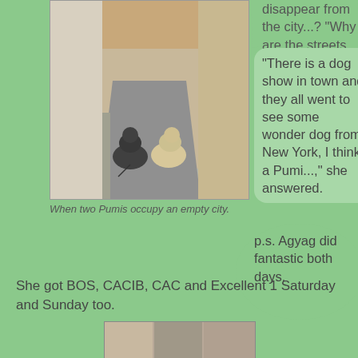[Figure (photo): Two Pumi dogs (one dark grey, one light cream/beige) standing on a sidewalk next to a building wall in an empty European city street.]
When two Pumis occupy an empty city.
disappear from the city...? “Why are the streets empty?” I asked the barista.
“There is a dog show in town and they all went to see some wonder dog from New York, I think a Pumi...,” she answered.
p.s. Agyag did fantastic both days.
She got BOS, CACIB, CAC and Excellent 1 Saturday and Sunday too.
[Figure (photo): Partial photo visible at bottom of page, appears to show an indoor or outdoor scene, partially cropped.]